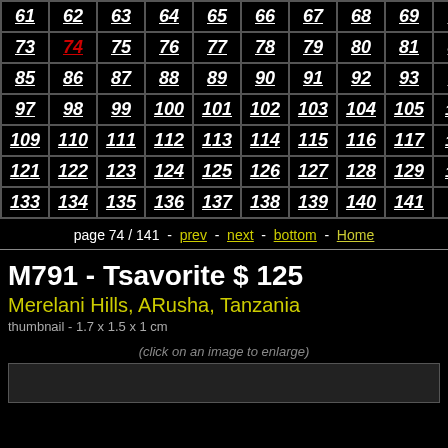| 61 | 62 | 63 | 64 | 65 | 66 | 67 | 68 | 69 | 70 |
| 73 | 74 | 75 | 76 | 77 | 78 | 79 | 80 | 81 | 82 |
| 85 | 86 | 87 | 88 | 89 | 90 | 91 | 92 | 93 | 94 |
| 97 | 98 | 99 | 100 | 101 | 102 | 103 | 104 | 105 | 106 |
| 109 | 110 | 111 | 112 | 113 | 114 | 115 | 116 | 117 | 118 |
| 121 | 122 | 123 | 124 | 125 | 126 | 127 | 128 | 129 | 130 |
| 133 | 134 | 135 | 136 | 137 | 138 | 139 | 140 | 141 |  |
page 74 / 141  -  prev  -  next  -  bottom  -  Home
M791 - Tsavorite $ 125
Merelani Hills, ARusha, Tanzania
thumbnail - 1.7 x 1.5 x 1 cm
(click on an image to enlarge)
[Figure (photo): Preview thumbnail area (dark box placeholder)]